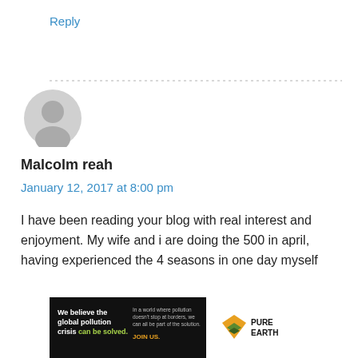Reply
[Figure (other): Horizontal dotted divider line]
[Figure (illustration): Default grey avatar/user icon]
Malcolm reah
January 12, 2017 at 8:00 pm
I have been reading your blog with real interest and enjoyment. My wife and i are doing the 500 in april, having experienced the 4 seasons in one day myself
[Figure (other): Pure Earth advertisement banner. Text: We believe the global pollution crisis can be solved. In a world where pollution doesn't stop at borders, we can all be part of the solution. JOIN US. Pure Earth logo.]